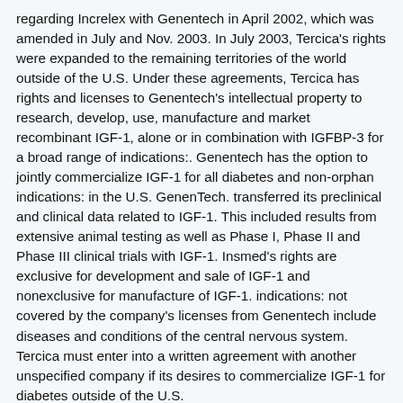regarding Increlex with Genentech in April 2002, which was amended in July and Nov. 2003. In July 2003, Tercica's rights were expanded to the remaining territories of the world outside of the U.S. Under these agreements, Tercica has rights and licenses to Genentech's intellectual property to research, develop, use, manufacture and market recombinant IGF-1, alone or in combination with IGFBP-3 for a broad range of indications:. Genentech has the option to jointly commercialize IGF-1 for all diabetes and non-orphan indications: in the U.S. GenenTech. transferred its preclinical and clinical data related to IGF-1. This included results from extensive animal testing as well as Phase I, Phase II and Phase III clinical trials with IGF-1. Insmed's rights are exclusive for development and sale of IGF-1 and nonexclusive for manufacture of IGF-1. indications: not covered by the company's licenses from Genentech include diseases and conditions of the central nervous system. Tercica must enter into a written agreement with another unspecified company if its desires to commercialize IGF-1 for diabetes outside of the U.S.